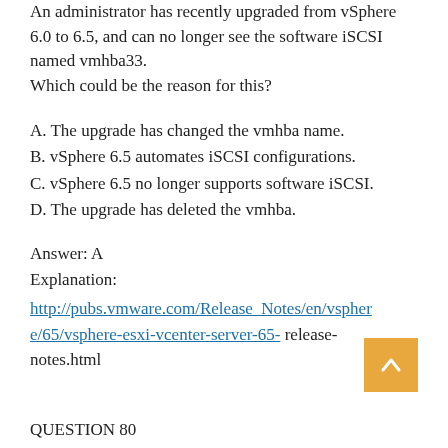An administrator has recently upgraded from vSphere 6.0 to 6.5, and can no longer see the software iSCSI named vmhba33. Which could be the reason for this?
A. The upgrade has changed the vmhba name.
B. vSphere 6.5 automates iSCSI configurations.
C. vSphere 6.5 no longer supports software iSCSI.
D. The upgrade has deleted the vmhba.
Answer: A
Explanation:
http://pubs.vmware.com/Release_Notes/en/vsphere/65/vsphere-esxi-vcenter-server-65- release-notes.html
QUESTION 80